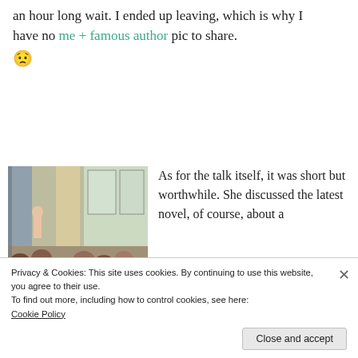an hour long wait. I ended up leaving, which is why I have no me + famous author pic to share. 😟
[Figure (photo): Photo of a speaker at a podium in a room, with audience members seated, taken from the back of the room. A column and large windows are visible.]
As for the talk itself, it was short but worthwhile. She discussed the latest novel, of course, about a
Privacy & Cookies: This site uses cookies. By continuing to use this website, you agree to their use.
To find out more, including how to control cookies, see here:
Cookie Policy
Close and accept